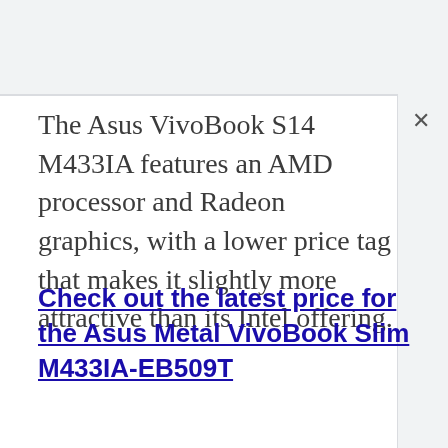The Asus VivoBook S14 M433IA features an AMD processor and Radeon graphics, with a lower price tag that makes it slightly more attractive than its Intel offering.
Check out the latest price for the Asus Metal VivoBook Slim M433IA-EB509T